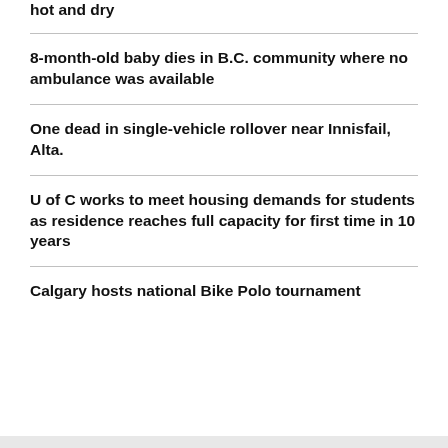hot and dry
8-month-old baby dies in B.C. community where no ambulance was available
One dead in single-vehicle rollover near Innisfail, Alta.
U of C works to meet housing demands for students as residence reaches full capacity for first time in 10 years
Calgary hosts national Bike Polo tournament